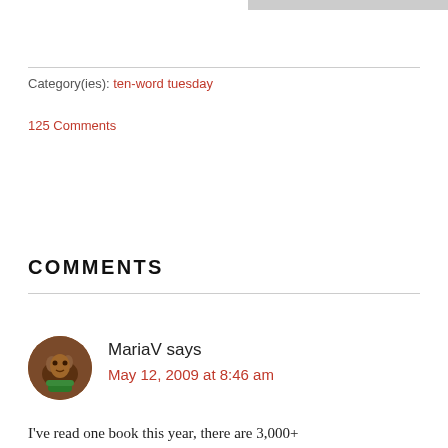Category(ies): ten-word tuesday
125 Comments
COMMENTS
MariaV says
May 12, 2009 at 8:46 am
I've read one book this year, there are 3,000+